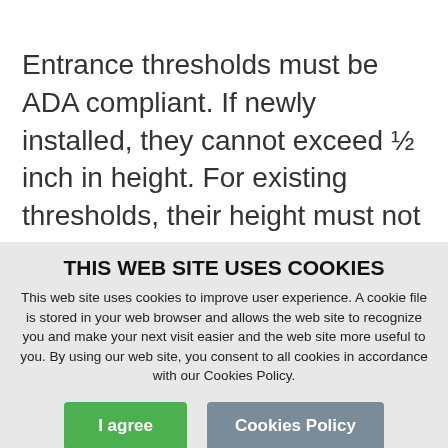Entrance thresholds must be ADA compliant. If newly installed, they cannot exceed ½ inch in height. For existing thresholds, their height must not exceed ¾ inch. Above a height of ¼ inch, all threshold edges must be beveled at a slope no steeper than 1:2. Observing these
THIS WEB SITE USES COOKIES
This web site uses cookies to improve user experience. A cookie file is stored in your web browser and allows the web site to recognize you and make your next visit easier and the web site more useful to you. By using our web site, you consent to all cookies in accordance with our Cookies Policy.